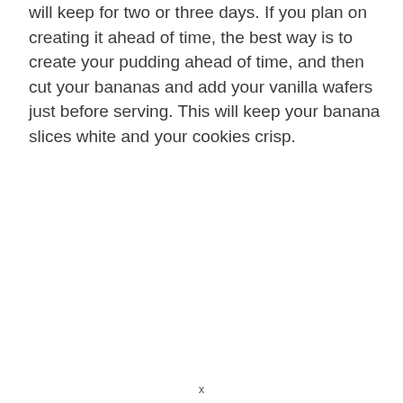When stored in the refrigerator, banana pudding will keep for two or three days. If you plan on creating it ahead of time, the best way is to create your pudding ahead of time, and then cut your bananas and add your vanilla wafers just before serving. This will keep your banana slices white and your cookies crisp.
x